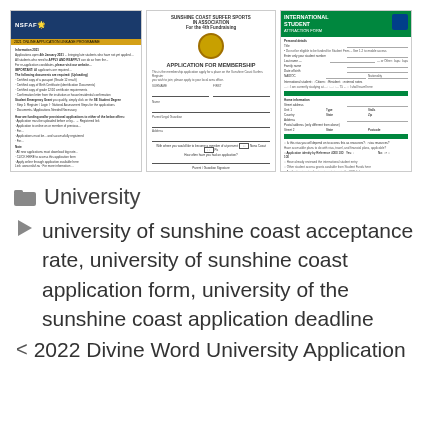[Figure (screenshot): Three document thumbnails side by side: (1) NSFAP online application form header in blue with yellow subtitle bar and body text in small print with red and blue links at bottom; (2) Application for Membership form from a surf lifesaving society with a circular badge logo, form fields, and 'Example Form Only' caption; (3) International Student Attraction form with green header bar and UC university logo.]
University
university of sunshine coast acceptance rate, university of sunshine coast application form, university of the sunshine coast application deadline
< 2022 Divine Word University Application